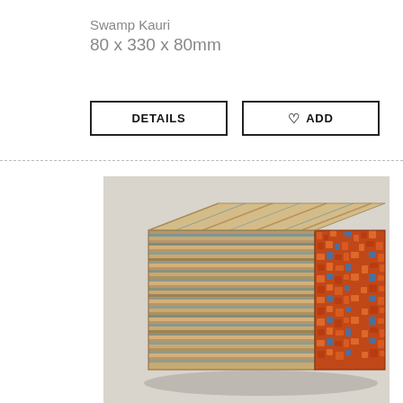Swamp Kauri
80 x 330 x 80mm
[Figure (photo): Close-up photo of a rectangular block made from laminated layers of recycled magazines or newspapers stacked horizontally, showing brown/tan striped side and a rough orange/copper-colored end grain face]
DETAILS
♡ ADD